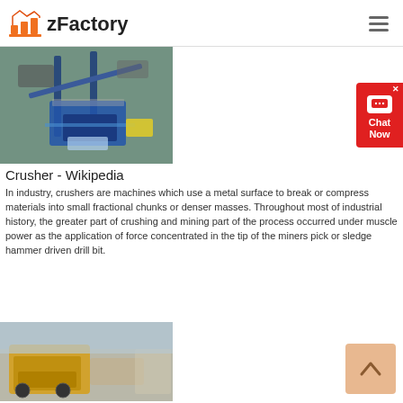zFactory
[Figure (photo): Aerial/elevated view of a large industrial crusher or mining processing machine, blue structure with conveyor belts in a mining/quarry setting]
Crusher - Wikipedia
In industry, crushers are machines which use a metal surface to break or compress materials into small fractional chunks or denser masses. Throughout most of industrial history, the greater part of crushing and mining part of the process occurred under muscle power as the application of force concentrated in the tip of the miners pick or sledge hammer driven drill bit.
Read More
[Figure (photo): Yellow mining/construction equipment at a quarry or mine site]
[Figure (other): Red chat widget button with chat icon and 'Chat Now' text]
[Figure (other): Orange/peach scroll-to-top button with upward arrow]